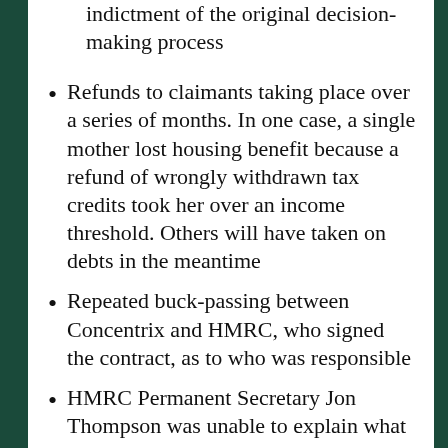…consequently, either way, a terrible indictment of the original decision-making process
Refunds to claimants taking place over a series of months. In one case, a single mother lost housing benefit because a refund of wrongly withdrawn tax credits took her over an income threshold. Others will have taken on debts in the meantime
Repeated buck-passing between Concentrix and HMRC, who signed the contract, as to who was responsible
HMRC Permanent Secretary Jon Thompson was unable to explain what